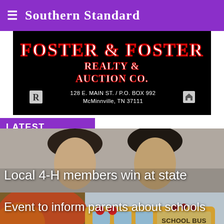Southern Standard
[Figure (photo): Foster & Foster Realty & Auction Co. advertisement banner. Black background with red and white text. Address: 128 E. Main St. / P.O. Box 992, McMinnville, TN 37111.]
LATEST
[Figure (photo): Photo of two young women/girls with dark hair, faces partially visible. Associated with news story about local 4-H members winning at state.]
Local 4-H members win at state
[Figure (photo): Photo of a yellow school bus with red lights and autumn trees in background. Associated with news story about an event to inform parents about schools.]
Event to inform parents about schools